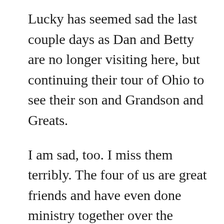Lucky has seemed sad the last couple days as Dan and Betty are no longer visiting here, but continuing their tour of Ohio to see their son and Grandson and Greats.
I am sad, too. I miss them terribly. The four of us are great friends and have even done ministry together over the years. So unusual. They are much more like family than friends! I believe the four of us could live together